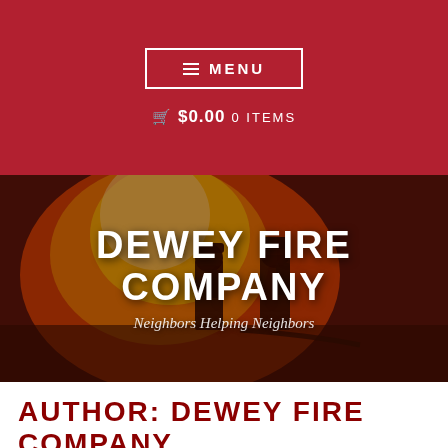MENU
$0.00 0 ITEMS
[Figure (photo): Two firefighters in full gear silhouetted against a large fire with bright orange flames]
DEWEY FIRE COMPANY
Neighbors Helping Neighbors
AUTHOR: DEWEY FIRE COMPANY